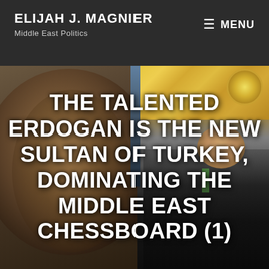ELIJAH J. MAGNIER
Middle East Politics
≡ MENU
[Figure (photo): Split image: left side shows an Ottoman-era portrait painting of a sultan in a circular frame, right side shows a modern photo of Erdogan seated in an ornate gold-decorated room wearing a dark suit]
THE TALENTED ERDOGAN IS THE NEW SULTAN OF TURKEY, DOMINATING THE MIDDLE EAST CHESSBOARD (1)